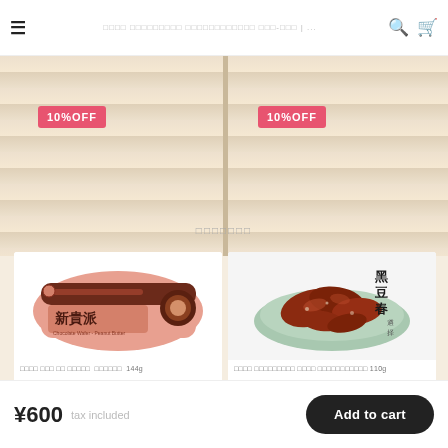≡  □□□□ □□□□□□□□□ □□□□□□□□□□□□ □□□-□□□ | ...  🔍  🛒
[Figure (photo): 10% OFF badge on left product]
[Figure (photo): 10% OFF badge on right product]
□□□□□□□
[Figure (photo): Chocolate biscuit product in pink packaging with Chinese characters 新貴派]
□□□□ □□□ □□ □□□□□  □□□□□□  144g
¥550
[Figure (photo): Dried meat snack product on plate with Chinese characters 黑豆春]
□□□□ □□□□□□□□□ □□□□ □□□□□□□□□□□ 110g
¥650
¥600  tax included
Add to cart